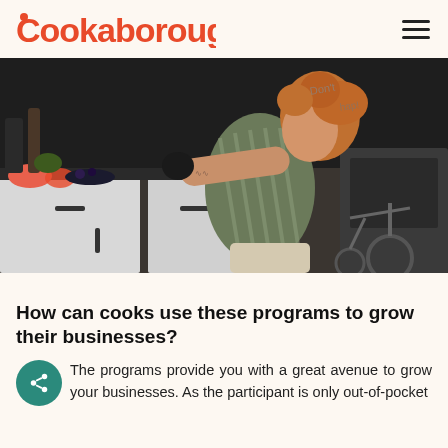Cookaborough
[Figure (photo): A person with red curly hair and tattoos on their arm, wearing a striped shirt, seated in a wheelchair, reaching across a kitchen counter with various cooking items and fruits. Dark kitchen background with blackboard.]
How can cooks use these programs to grow their businesses?
The programs provide you with a great avenue to grow your businesses. As the participant is only out-of-pocket